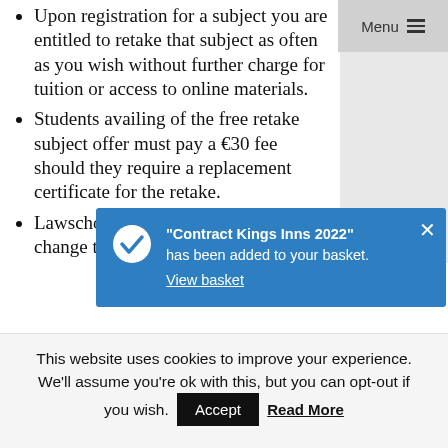Upon registration for a subject you are entitled to retake that subject as often as you wish without further charge for tuition or access to online materials.
Students availing of the free retake subject offer must pay a €30 fee should they require a replacement certificate for the retake.
Lawschool reserves the right to change the tuition timetable and schedule of classes and does so upon the delivery of reasonable notice.
[Figure (screenshot): Blue notification popup: checkmark icon, text '"Contract Kings Inns 2022" has been added to your basket.' with 'View basket' link and close X button]
This website uses cookies to improve your experience. We'll assume you're ok with this, but you can opt-out if you wish.
Accept | Read More